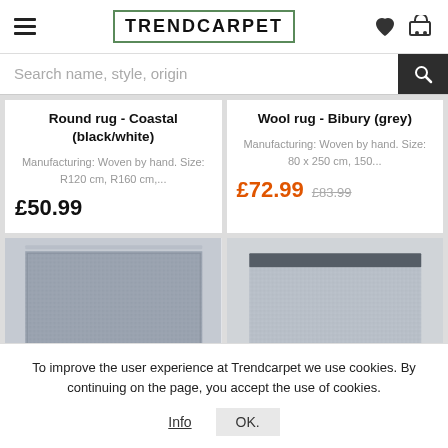TRENDCARPET
Search name, style, origin
Round rug - Coastal (black/white)
Manufacturing: Woven by hand. Size: R120 cm, R160 cm,...
£50.99
Wool rug - Bibury (grey)
Manufacturing: Woven by hand. Size: 80 x 250 cm, 150...
£72.99 £83.99
[Figure (photo): Grey woven rug product image - left]
[Figure (photo): Grey woven rug product image - right]
To improve the user experience at Trendcarpet we use cookies. By continuing on the page, you accept the use of cookies.
Info  OK.